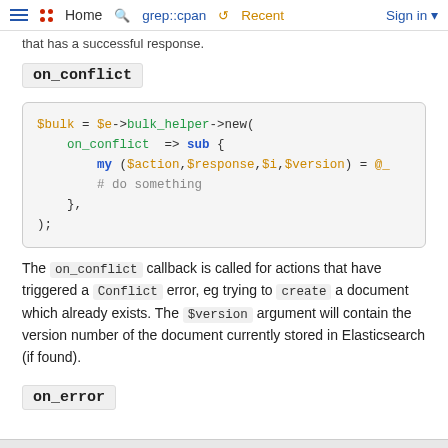Home | grep::cpan | Recent | Sign in
that has a successful response.
on_conflict
[Figure (screenshot): Code block showing Perl syntax: $bulk = $e->bulk_helper->new( on_conflict => sub { my ($action,$response,$i,$version) = @_ # do something }, );]
The on_conflict callback is called for actions that have triggered a Conflict error, eg trying to create a document which already exists. The $version argument will contain the version number of the document currently stored in Elasticsearch (if found).
on_error